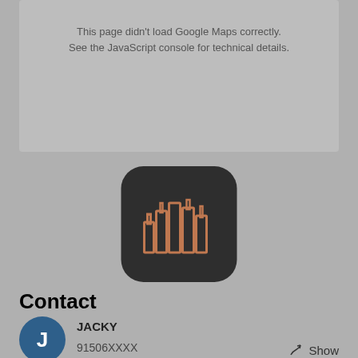This page didn't load Google Maps correctly. See the JavaScript console for technical details.
[Figure (logo): App icon with dark rounded square background showing copper/rose-gold colored city skyline building outlines]
Contact
JACKY
91506XXXX
Show
Contact Landlord
N
Mobile Number